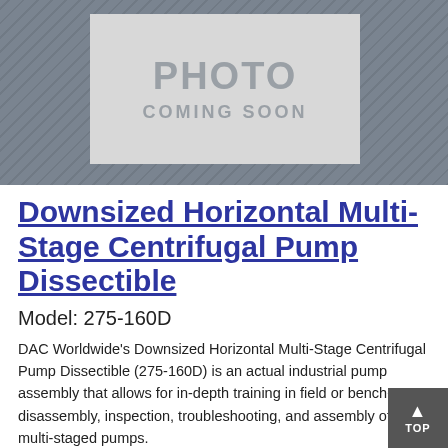[Figure (photo): Photo placeholder image with diagonal stripe background and 'PHOTO COMING SOON' text in center white box]
Downsized Horizontal Multi-Stage Centrifugal Pump Dissectible
Model: 275-160D
DAC Worldwide's Downsized Horizontal Multi-Stage Centrifugal Pump Dissectible (275-160D) is an actual industrial pump assembly that allows for in-depth training in field or bench-top disassembly, inspection, troubleshooting, and assembly of multi-staged pumps.